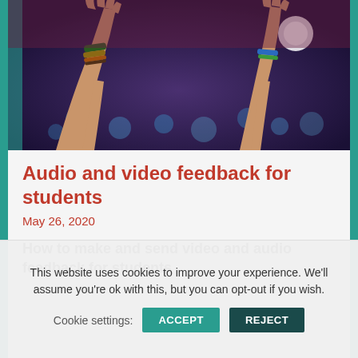[Figure (photo): Two hands raised up with bracelets and wristbands, bokeh blue lights background, dark purple/teal atmosphere resembling a concert or event setting]
Audio and video feedback for students
May 26, 2020
How to make and send video and audio feedback for students
This website uses cookies to improve your experience. We'll assume you're ok with this, but you can opt-out if you wish. Cookie settings: ACCEPT REJECT